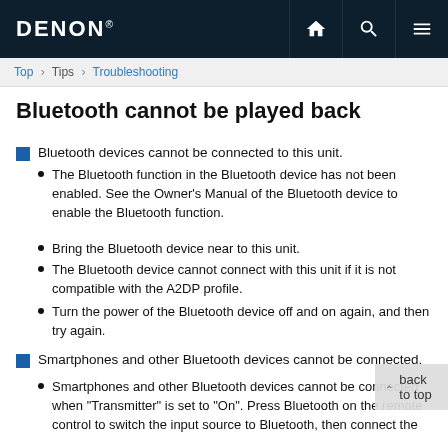DENON
Top > Tips > Troubleshooting
Bluetooth cannot be played back
Bluetooth devices cannot be connected to this unit.
The Bluetooth function in the Bluetooth device has not been enabled. See the Owner's Manual of the Bluetooth device to enable the Bluetooth function.
Bring the Bluetooth device near to this unit.
The Bluetooth device cannot connect with this unit if it is not compatible with the A2DP profile.
Turn the power of the Bluetooth device off and on again, and then try again.
Smartphones and other Bluetooth devices cannot be connected.
Smartphones and other Bluetooth devices cannot be connected when "Transmitter" is set to "On". Press Bluetooth on the remote control to switch the input source to Bluetooth, then connect the